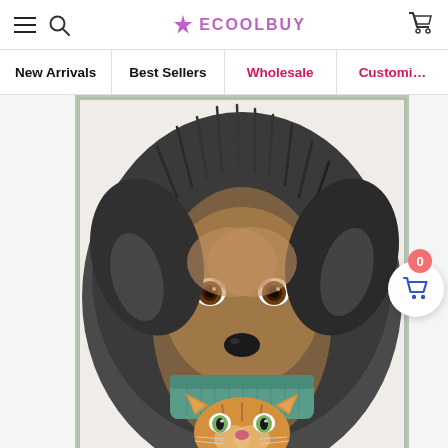ECOOLBUY — navigation header with hamburger menu, search, logo, and cart icon
New Arrivals
Best Sellers
Wholesale
Customi...
[Figure (illustration): Illustrated painting of a shaggy dark-haired dog looking down at a small orange tabby kitten wearing a teal/green knit hat. The image is framed with a light silver/green border on white background.]